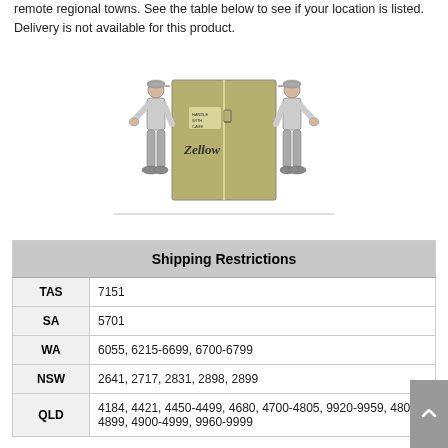remote regional towns. See the table below to see if your location is listed. Delivery is not available for this product.
[Figure (illustration): Two people carrying a large cardboard box labeled 'Handle with Care' and 'Zellow'. The box is beige/olive colored with a vertical line down the center. Both carriers are wearing caps and casual clothing.]
|  | Shipping Restrictions |
| --- | --- |
| TAS | 7151 |
| SA | 5701 |
| WA | 6055, 6215-6699, 6700-6799 |
| NSW | 2641, 2717, 2831, 2898, 2899 |
| QLD | 4184, 4421, 4450-4499, 4680, 4700-4805, 9920-9959, 4806-4899, 4900-4999, 9960-9999 |